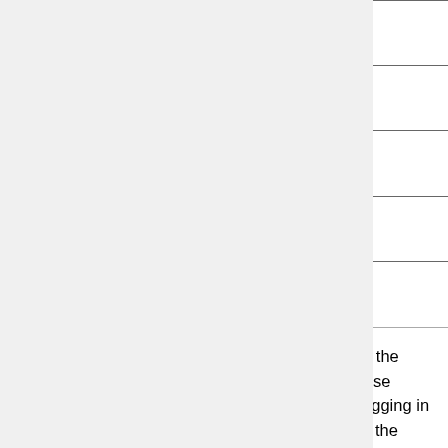| Name | Col1 | Col2 | Col3 | Col4 |
| --- | --- | --- | --- | --- |
| Siddhi Imming | Done | Done | Done | D... |
| Bart Moris | Done | Done | Done | D... |
| Roger Pouls | Done | Done | Done | D... |
| Patrick Vaes | Done | Done | Done | D... |
Goals
Our main goal is to be able to solve the maze Jazz will be faced with during the final competition. As the philosophy in the world of robotics and also behind the ROS platform is to share knowledge and to use knowledge of others in order to speed up the design process. Of course, we take care of not just plugging in some code designed by others without really understanding what is going on and on what principles the process is based on. So our focus will be on designing a robust and fast navigation algorithm, rather than designing all